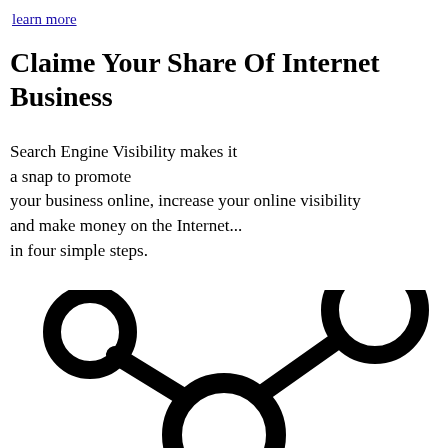learn more
Claime Your Share Of Internet Business
Search Engine Visibility makes it a snap to promote your business online, increase your online visibility and make money on the Internet... in four simple steps.
[Figure (illustration): Network/graph icon showing three circles connected by thick lines, resembling a share or network diagram. Two circles at top-left and top-right, one large circle at bottom-center, all connected by thick black lines forming a Y/hub shape.]